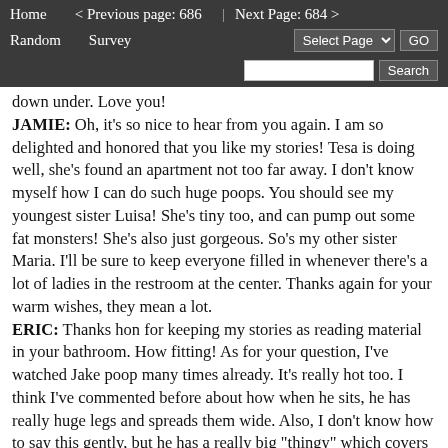Home   < Previous page: 686  |  Next Page: 684 >   Random   Survey   Select Page  GO   Search
down under. Love you!
JAMIE: Oh, it's so nice to hear from you again. I am so delighted and honored that you like my stories! Tesa is doing well, she's found an apartment not too far away. I don't know myself how I can do such huge poops. You should see my youngest sister Luisa! She's tiny too, and can pump out some fat monsters! She's also just gorgeous. So's my other sister Maria. I'll be sure to keep everyone filled in whenever there's a lot of ladies in the restroom at the center. Thanks again for your warm wishes, they mean a lot.
ERIC: Thanks hon for keeping my stories as reading material in your bathroom. How fitting! As for your question, I've watched Jake poop many times already. It's really hot too. I think I've commented before about how when he sits, he has really huge legs and spreads them wide. Also, I don't know how to say this gently, but he has a really big "thingy" which covers up the view in front. I'm used to looking at girls who have just a patch of hair, but Jake has this large thing that blocks the view